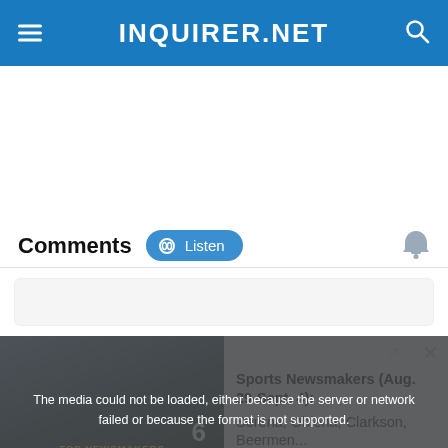INQUIRER.NET
Comments
[Figure (screenshot): Listen button with headphone icon, blue pill-shaped button]
[Figure (screenshot): Bell notification icon on the right]
[Figure (screenshot): Video player with media error overlay: 'The media could not be loaded, either because the server or network failed or because the format is not supported.' Sports Newsmakers (Aug. 29-Sept. 4): Serena, Oblena, Clarkson, Beermen... video thumbnail with TOP NEWSMAKERS OF THE WEEK text]
The media could not be loaded, either because the server or network failed or because the format is not supported.